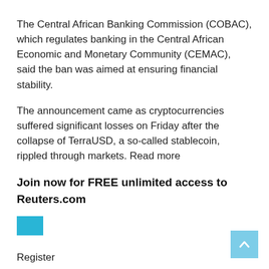The Central African Banking Commission (COBAC), which regulates banking in the Central African Economic and Monetary Community (CEMAC), said the ban was aimed at ensuring financial stability.
The announcement came as cryptocurrencies suffered significant losses on Friday after the collapse of TerraUSD, a so-called stablecoin, rippled through markets. Read more
Join now for FREE unlimited access to Reuters.com
[Figure (other): Cyan/teal colored rectangular button element]
Register
The presidency of the Central African Republic announced on April 27 that bitcoin had become legal tender, making it the second country to do so after El Salvador. Read more
At the time, analysts and crypto experts said they were
[Figure (other): Light blue scroll-to-top button with upward arrow icon in bottom-right corner]